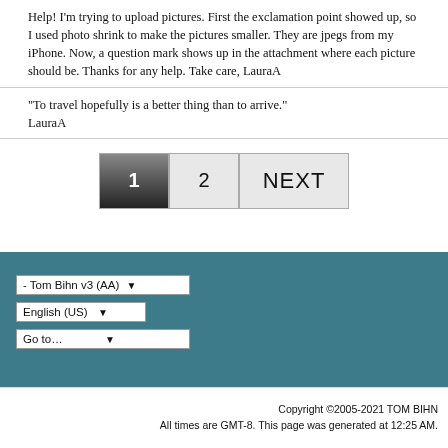Help! I'm trying to upload pictures. First the exclamation point showed up, so I used photo shrink to make the pictures smaller. They are jpegs from my iPhone. Now, a question mark shows up in the attachment where each picture should be. Thanks for any help. Take care, LauraA
"To travel hopefully is a better thing than to arrive." LauraA
[Figure (other): Pagination controls showing buttons for page 1 (active/dark), page 2, and NEXT]
[Figure (other): Footer area with dark teal background containing three dropdown controls: '- Tom Bihn v3 (AA)', 'English (US)', and 'Go to...']
Copyright ©2005-2021 TOM BIHN
All times are GMT-8. This page was generated at 12:25 AM.